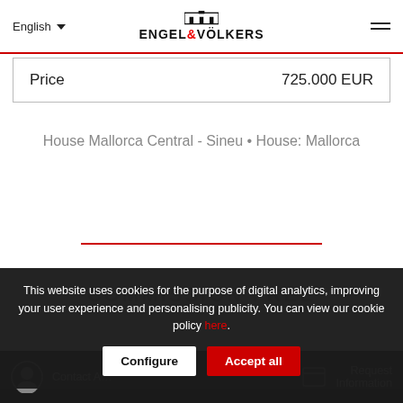English — ENGEL & VÖLKERS
| Price | 725.000 EUR |
| --- | --- |
House Mallorca Central - Sineu • House: Mallorca
This website uses cookies for the purpose of digital analytics, improving your user experience and personalising publicity. You can view our cookie policy here.
Configure | Accept all
Contact Agent | Request Information